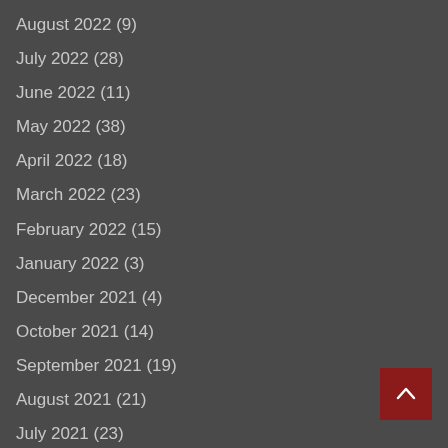August 2022 (9)
July 2022 (28)
June 2022 (11)
May 2022 (38)
April 2022 (18)
March 2022 (23)
February 2022 (15)
January 2022 (3)
December 2021 (4)
October 2021 (14)
September 2021 (19)
August 2021 (21)
July 2021 (23)
June 2021 (4)
May 2021 (5)
April 2021 (1)
March 2021 (2)